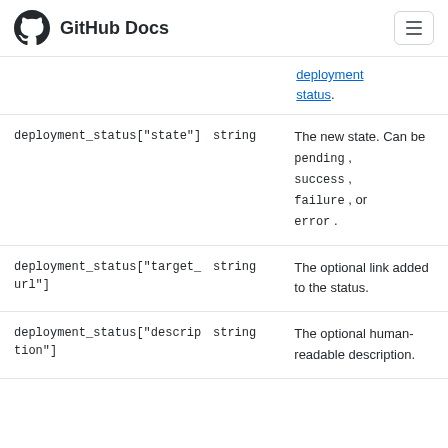GitHub Docs
| Name | Type | Description |
| --- | --- | --- |
|  |  | deployment status. |
| deployment_status["state"] | string | The new state. Can be pending , success , failure , or error . |
| deployment_status["target_url"] | string | The optional link added to the status. |
| deployment_status["description"] | string | The optional human-readable description. |